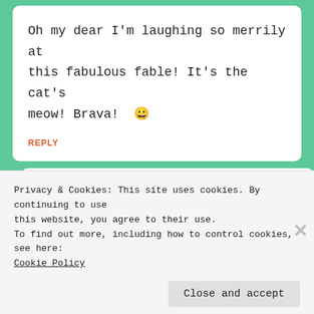Oh my dear I'm laughing so merrily at this fabulous fable! It's the cat's meow! Brava! 😀
REPLY
Cubby  September 15, 2013 — 2:54 pm
Privacy & Cookies: This site uses cookies. By continuing to use this website, you agree to their use.
To find out more, including how to control cookies, see here:
Cookie Policy
Close and accept